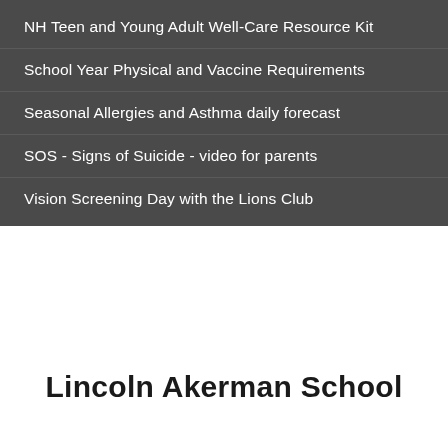NH Teen and Young Adult Well-Care Resource Kit
School Year Physical and Vaccine Requirements
Seasonal Allergies and Asthma daily forecast
SOS - Signs of Suicide - video for parents
Vision Screening Day with the Lions Club
Lincoln Akerman School